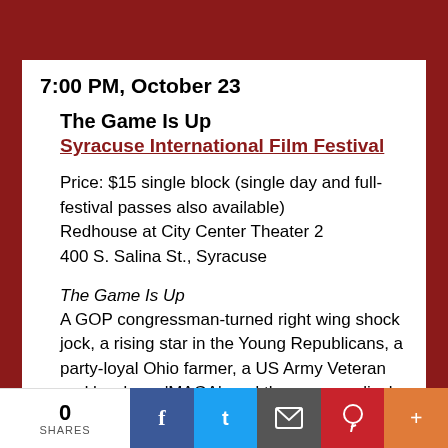7:00 PM, October 23
The Game Is Up
Syracuse International Film Festival
Price: $15 single block (single day and full-festival passes also available)
Redhouse at City Center Theater 2
400 S. Salina St., Syracuse
The Game Is Up
A GOP congressman-turned right wing shock jock, a rising star in the Young Republicans, a party-loyal Ohio farmer, a US Army Veteran and hardcore 'MAGA', and three evangelicals all recount their evolutions from Trump supporters in 2016 to adamant adversaries in 2020. The film takes a deep dive into their motives for voting, their doubts, and the epiphanies that changed their minds. (110
0 SHARES  f  t  [email]  p  +